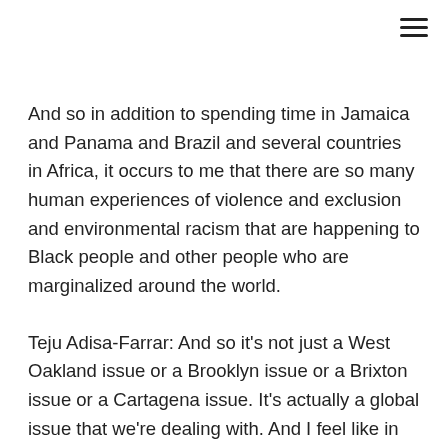And so in addition to spending time in Jamaica and Panama and Brazil and several countries in Africa, it occurs to me that there are so many human experiences of violence and exclusion and environmental racism that are happening to Black people and other people who are marginalized around the world.
Teju Adisa-Farrar: And so it's not just a West Oakland issue or a Brooklyn issue or a Brixton issue or a Cartagena issue. It's actually a global issue that we're dealing with. And I feel like in knowing that it can feel a little overwhelming, but also it shows us that there are so many opportunities for solidarity, because really people of color are the global majority. And so if we come